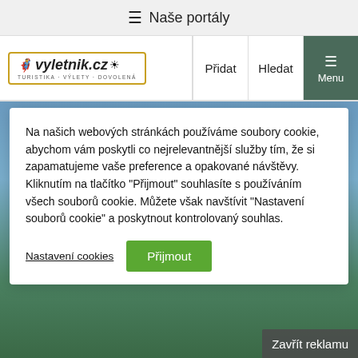≡ Naše portály
[Figure (logo): Vyletnik.cz logo — turistika výlety dovolená]
Přidat
Hledat
Menu
Na našich webových stránkách používáme soubory cookie, abychom vám poskytli co nejrelevantnější služby tím, že si zapamatujeme vaše preference a opakované návštěvy. Kliknutím na tlačítko "Přijmout" souhlasíte s používáním všech souborů cookie. Můžete však navštívit "Nastavení souborů cookie" a poskytnout kontrolovaný souhlas.
Nastavení cookies
Přijmout
Zavřít reklamu
[Figure (photo): AXA travel insurance advertisement — Cestovní pojištění s 50% slevou, VYSOKÉ LIMITY KRYTÍ, with AXA logo and woman in sunglasses]
→ Soutěž o vstupenky do Legendia ←